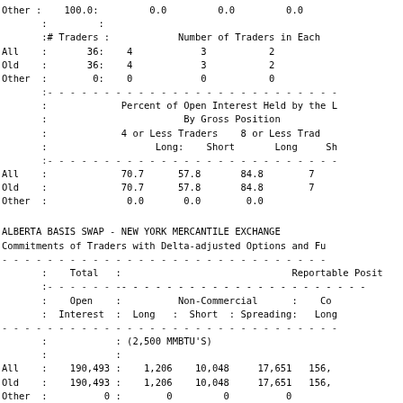|  | Total |  |  | Reportable Positions |  |  |
| --- | --- | --- | --- | --- | --- | --- |
| Other: | 100.0: | 0.0 | 0.0 | 0.0 |
|  | : | : |
|  | :# Traders : |  | Number of Traders in Each |
| All | 36: | 4 | 3 | 2 |
| Old | 36: | 4 | 3 | 2 |
| Other: | 0: | 0 | 0 | 0 |
|  | Percent of Open Interest Held by the | By Gross Position |
|  | 4 or Less Traders | 8 or Less Traders |
|  | Long: | Short | Long | Sh |
| All |  | 70.7 | 57.8 | 84.8 | 7 |
| Old |  | 70.7 | 57.8 | 84.8 | 7 |
| Other: |  | 0.0 | 0.0 | 0.0 |
ALBERTA BASIS SWAP - NEW YORK MERCANTILE EXCHANGE
Commitments of Traders with Delta-adjusted Options and Fu
|  | Total |  | Reportable Positions |  |  |  |
| --- | --- | --- | --- | --- | --- | --- |
|  | Open |  | Non-Commercial |  | Co |
|  | Interest | Long | Short | Spreading: | Long |
|  |  | (2,500 MMBTU'S) |
| All | 190,493: | 1,206 | 10,048 | 17,651 | 156, |
| Old | 190,493: | 1,206 | 10,048 | 17,651 | 156, |
| Other: | 0: | 0 | 0 | 0 |
|  | Changes in Commitments from |